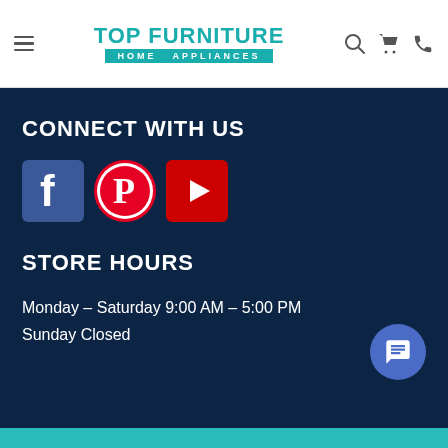TOP FURNITURE HOME APPLIANCES
CONNECT WITH US
[Figure (logo): Social media icons: Facebook, Pinterest, YouTube]
STORE HOURS
Monday – Saturday 9:00 AM – 5:00 PM
Sunday Closed